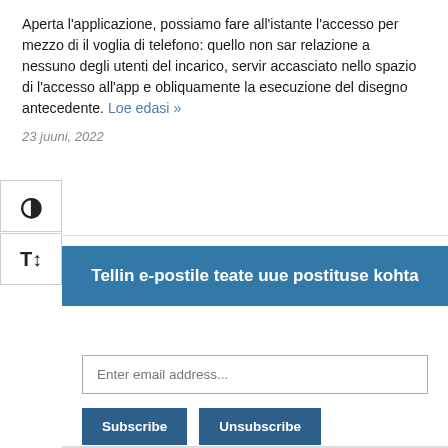Aperta l'applicazione, possiamo fare all'istante l'accesso per mezzo di il voglia di telefono: quello non sar relazione a nessuno degli utenti del incarico, servir accasciato nello spazio di l'accesso all'app e obliquamente la esecuzione del disegno antecedente. Loe edasi »
23 juuni, 2022
Tellin e-postile teate uue postituse kohta
Enter email address...
Subscribe   Unsubscribe